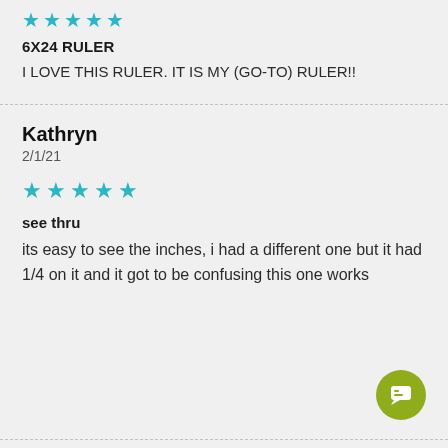[Figure (other): 5 teal/cyan stars rating (partially cut off at top)]
6X24 RULER
I LOVE THIS RULER. IT IS MY (GO-TO) RULER!!
Kathryn
2/1/21
[Figure (other): 5 teal/cyan stars rating]
see thru
its easy to see the inches, i had a different one but it had 1/4 on it and it got to be confusing this one works